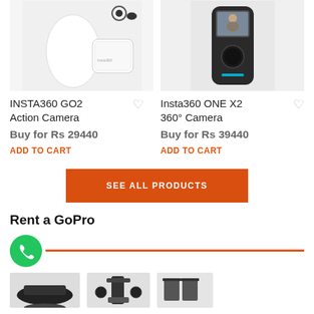[Figure (photo): INSTA360 GO2 Action Camera product image - white device with charging case]
[Figure (photo): Insta360 ONE X2 360° Camera product image - black handheld camera]
INSTA360 GO2 Action Camera
Buy for Rs 29440
ADD TO CART
Insta360 ONE X2 360° Camera
Buy for Rs 39440
ADD TO CART
SEE ALL PRODUCTS
Rent a GoPro
[Figure (illustration): Green phone/call icon circle with orange horizontal line extending to the right]
[Figure (photo): Bottom strip of product images - camera accessories]